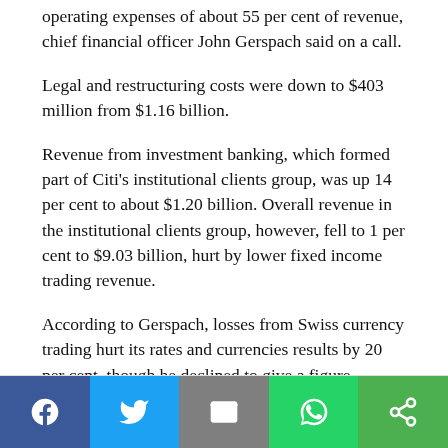operating expenses of about 55 per cent of revenue, chief financial officer John Gerspach said on a call.
Legal and restructuring costs were down to $403 million from $1.16 billion.
Revenue from investment banking, which formed part of Citi's institutional clients group, was up 14 per cent to about $1.20 billion. Overall revenue in the institutional clients group, however, fell to 1 per cent to $9.03 billion, hurt by lower fixed income trading revenue.
According to Gerspach, losses from Swiss currency trading hurt its rates and currencies results by 20 per cent, though he declined to give a figure.
Social share bar: Facebook, Twitter, Email, WhatsApp, Share